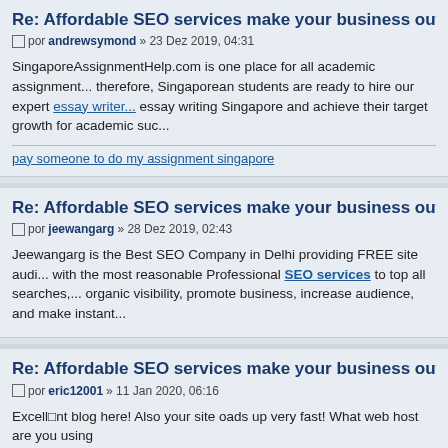Re: Affordable SEO services make your business outstand...
por andrewsymond » 23 Dez 2019, 04:31
SingaporeAssignmentHelp.com is one place for all academic assignment... therefore, Singaporean students are ready to hire our expert essay writer... essay writing Singapore and achieve their target growth for academic suc...
pay someone to do my assignment singapore
Re: Affordable SEO services make your business outstand...
por jeewangarg » 28 Dez 2019, 02:43
Jeewangarg is the Best SEO Company in Delhi providing FREE site audi... with the most reasonable Professional SEO services to top all searches,... organic visibility, promote business, increase audience, and make instant...
Re: Affordable SEO services make your business outstand...
por eric12001 » 11 Jan 2020, 06:16
Excell■nt blog here! Also your site oads up very fast! What web host are you using
cinderella solution reviews
lost book of remedies reviews